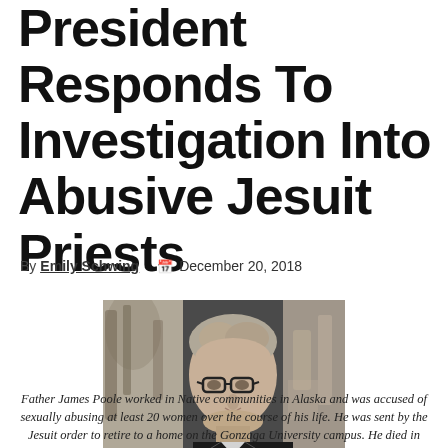President Responds To Investigation Into Abusive Jesuit Priests
By Emily Schwing   December 20, 2018
[Figure (photo): Black and white photo of Father James Poole, a man with glasses smiling, wearing clerical collar, set against blurred backgrounds on either side.]
Father James Poole worked in Native communities in Alaska and was accused of sexually abusing at least 20 women over the course of his life. He was sent by the Jesuit order to retire to a home on the Gonzaga University campus. He died in March 2019.